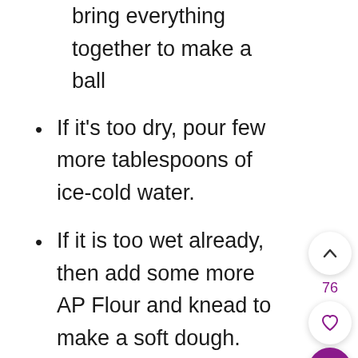Do not over knead the dough, just bring everything together to make a ball
If it's too dry, pour few more tablespoons of ice-cold water.
If it is too wet already, then add some more AP Flour and knead to make a soft dough.
Wrap the dough with plastic wrap
Freeze for 15 minutes or refrigerate for 30 minutes. (Freezing will get rid of all the extra moisture and will